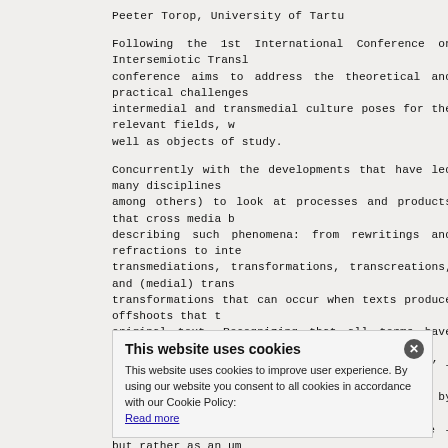Peeter Torop, University of Tartu
Following the 1st International Conference on Intersemiotic Translation, this conference aims to address the theoretical and practical challenges that intermedal and transmedial culture poses for the relevant fields, w... well as objects of study.
Concurrently with the developments that have led many disciplines among others) to look at processes and products that cross media b... describing such phenomena: from rewritings and refractions to inte... transmediations, transformations, transcreations, and (medial) trans... transformations that can occur when texts produce offshoots that t... original text. Recognizing that all terms have their different backg... one of its key terms the notion of 'transmedia' – not necessarily i... in the context of transmedia storytelling or by Peeter Torop and M... between texts in the mental space of culture – but rather as an um... 'across', 'beyond', 'through' – as a marker to highlight the ubiquit... common features (such as fictional world, character, plot).
It is our understanding that with such high concentration of transm... academia, the time is ripe to see this as a general 'turn' not be... translation studies as described by Michael Cronin, the 'transmedi... the changes in technology, the term 'transmediality' foregrounds a... this era of new... nevertheless with the... the notion... respective pr... past prior to the more recent technolog...
The aim of this conference to...
This website uses cookies
This website uses cookies to improve user experience. By using our website you consent to all cookies in accordance with our Cookie Policy:
Read more